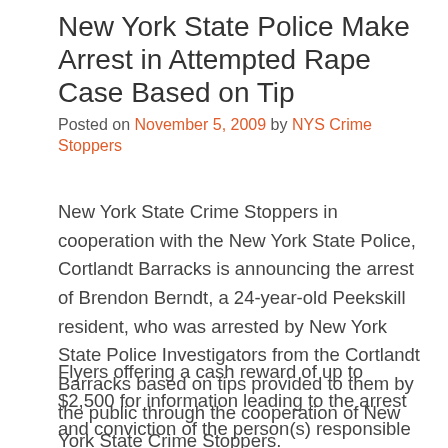New York State Police Make Arrest in Attempted Rape Case Based on Tip
Posted on November 5, 2009 by NYS Crime Stoppers
New York State Crime Stoppers in cooperation with the New York State Police, Cortlandt Barracks is announcing the arrest of Brendon Berndt, a 24-year-old Peekskill resident, who was arrested by New York State Police Investigators from the Cortlandt Barracks based on tips provided to them by the public through the cooperation of New York State Crime Stoppers.
Flyers offering a cash reward of up to $2,500 for information leading to the arrest and conviction of the person(s) responsible for the sexual assault and attempted rape of a 23-year-old woman were